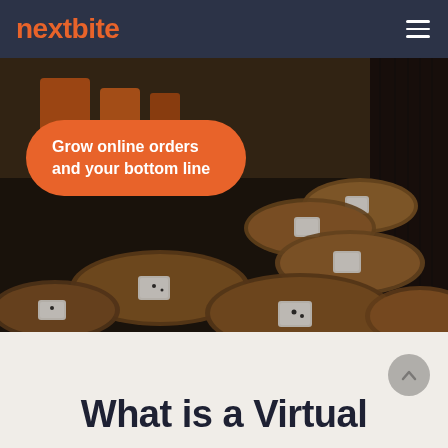nextbite
[Figure (photo): Overhead/angled photo of wooden oval serving boards on a dark counter in a restaurant kitchen, with small white condiment dishes on each board. Background shows orange containers and kitchen supplies.]
Grow online orders and your bottom line
What is a Virtual